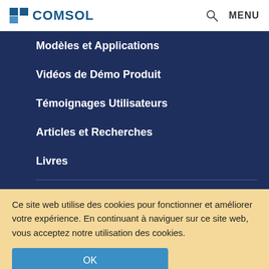COMSOL
Modèles et Applications
Vidéos de Démo Produit
Témoignages Utilisateurs
Articles et Recherches
Livres
Ce site web utilise des cookies pour fonctionner et améliorer votre expérience. En continuant à naviguer sur ce site web, vous acceptez notre utilisation des cookies.
OK
En savoir plus